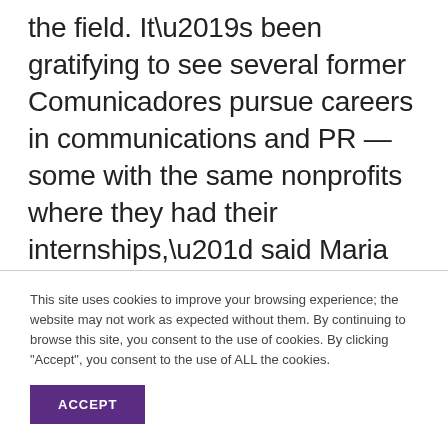the field. It’s been gratifying to see several former Comunicadores pursue careers in communications and PR — some with the same nonprofits where they had their internships,” said Maria Rodriguez, president and CEO of Vanguard and a GW alumna. “I can’t wait to see how they
This site uses cookies to improve your browsing experience; the website may not work as expected without them. By continuing to browse this site, you consent to the use of cookies. By clicking “Accept”, you consent to the use of ALL the cookies.
ACCEPT